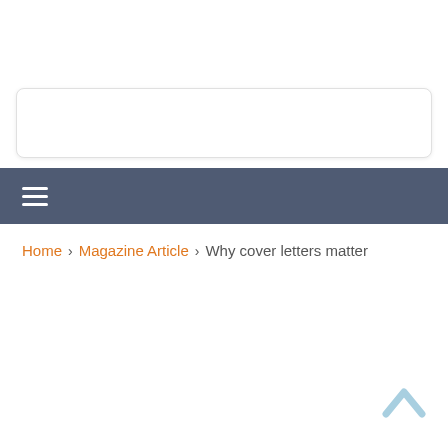[Figure (screenshot): White area with a rounded rectangle search or input box outline near the top]
≡ (hamburger menu icon in dark blue-grey navigation bar)
Home > Magazine Article > Why cover letters matter
[Figure (illustration): Light blue upward chevron/caret back-to-top button in the bottom right corner]